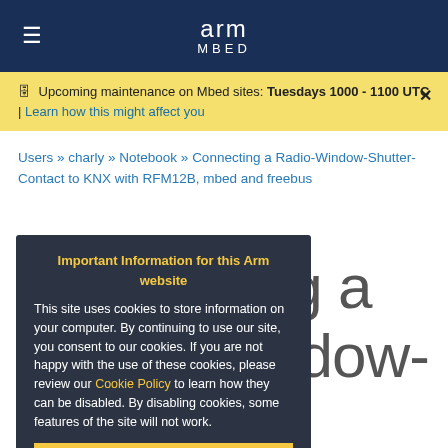arm MBED
Upcoming maintenance on Mbed sites: Tuesdays 1000 - 1100 UTC | Learn how this might affect you
Users » charly » Notebook » Connecting a Radio-Window-Shutter-Contact to KNX with RFM12B, mbed and freebus
Connecting a Radio-Window-Shutter-Contact to KNX with RFM12B, mbed and freebus
Important Information for this Arm website
This site uses cookies to store information on your computer. By continuing to use our site, you consent to our cookies. If you are not happy with the use of these cookies, please review our Cookie Policy to learn how they can be disabled. By disabling cookies, some features of the site will not work.
Accept and hide this message